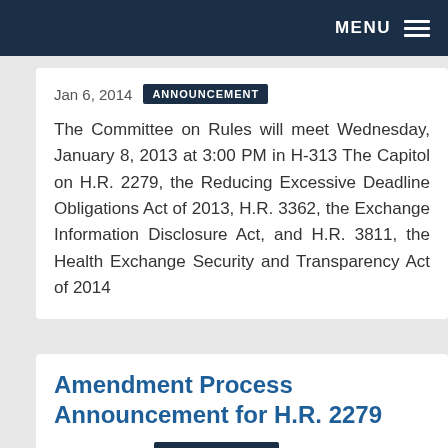MENU
Jan 6, 2014  ANNOUNCEMENT
The Committee on Rules will meet Wednesday, January 8, 2013 at 3:00 PM in H-313 The Capitol on H.R. 2279, the Reducing Excessive Deadline Obligations Act of 2013, H.R. 3362, the Exchange Information Disclosure Act, and H.R. 3811, the Health Exchange Security and Transparency Act of 2014
Amendment Process Announcement for H.R. 2279
Dec 31, 2013  ANNOUNCEMENT